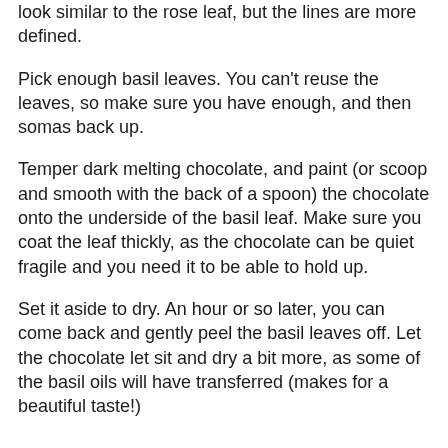look similar to the rose leaf, but the lines are more defined.
Pick enough basil leaves. You can't reuse the leaves, so make sure you have enough, and then somas back up.
Temper dark melting chocolate, and paint (or scoop and smooth with the back of a spoon) the chocolate onto the underside of the basil leaf. Make sure you coat the leaf thickly, as the chocolate can be quiet fragile and you need it to be able to hold up.
Set it aside to dry. An hour or so later, you can come back and gently peel the basil leaves off. Let the chocolate let sit and dry a bit more, as some of the basil oils will have transferred (makes for a beautiful taste!)